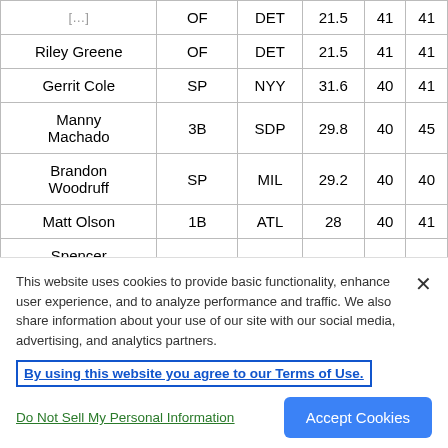| Player | Pos | Team | Age | Col5 | Col6 |
| --- | --- | --- | --- | --- | --- |
| [partial top row] | OF | DET | 21.5 | 41 | 41 |
| Riley Greene | OF | DET | 21.5 | 41 | 41 |
| Gerrit Cole | SP | NYY | 31.6 | 40 | 41 |
| Manny Machado | 3B | SDP | 29.8 | 40 | 45 |
| Brandon Woodruff | SP | MIL | 29.2 | 40 | 40 |
| Matt Olson | 1B | ATL | 28 | 40 | 41 |
| Spencer Torkelson | 1B,3B | DET | 22.6 | 40 | 39 |
This website uses cookies to provide basic functionality, enhance user experience, and to analyze performance and traffic. We also share information about your use of our site with our social media, advertising, and analytics partners.
By using this website you agree to our Terms of Use.
Do Not Sell My Personal Information
Accept Cookies